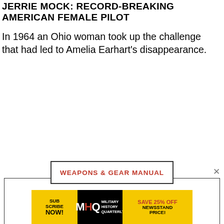JERRIE MOCK: RECORD-BREAKING AMERICAN FEMALE PILOT
In 1964 an Ohio woman took up the challenge that had led to Amelia Earhart's disappearance.
[Figure (photo): Large image placeholder with border, blank white interior]
WEAPONS & GEAR MANUAL
[Figure (infographic): Bottom advertisement banner for Military History Quarterly: Subscribe Now! Save 25% Off Newsstand Price!]